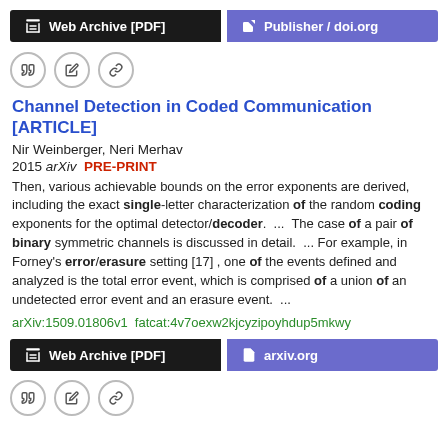[Figure (other): Top navigation buttons: 'Web Archive [PDF]' (black) and 'Publisher / doi.org' (purple)]
[Figure (other): Three circular icon buttons: quote, edit, link]
Channel Detection in Coded Communication [ARTICLE]
Nir Weinberger, Neri Merhav
2015 arXiv  PRE-PRINT
Then, various achievable bounds on the error exponents are derived, including the exact single-letter characterization of the random coding exponents for the optimal detector/decoder.  ...  The case of a pair of binary symmetric channels is discussed in detail.  ... For example, in Forney's error/erasure setting [17] , one of the events defined and analyzed is the total error event, which is comprised of a union of an undetected error event and an erasure event.  ...
arXiv:1509.01806v1  fatcat:4v7oexw2kjcyzipoyhdup5mkwy
[Figure (other): Bottom navigation buttons: 'Web Archive [PDF]' (black) and 'arxiv.org' (purple)]
[Figure (other): Three circular icon buttons: quote, edit, link]